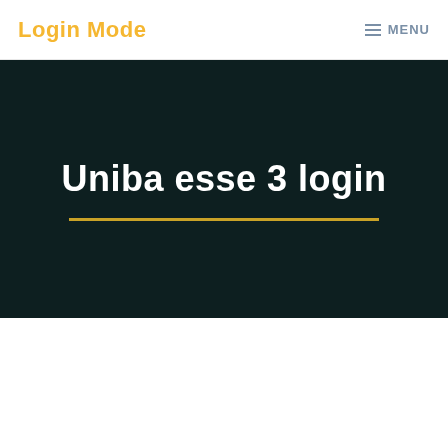Login Mode
MENU
Uniba esse 3 login